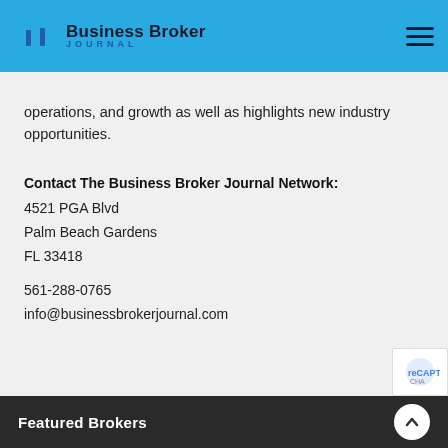Business Broker JOURNAL
operations, and growth as well as highlights new industry opportunities.
Contact The Business Broker Journal Network:
4521 PGA Blvd
Palm Beach Gardens
FL 33418

561-288-0765
info@businessbrokerjournal.com
Featured Brokers